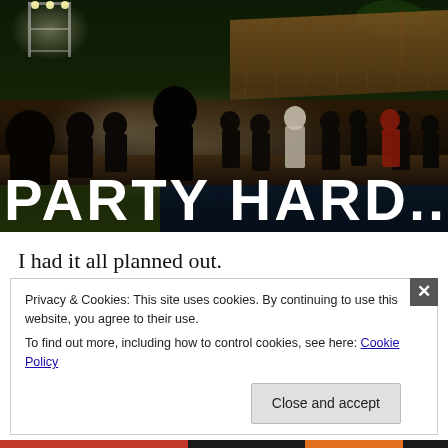[Figure (photo): Nighttime outdoor party scene with people socializing near a pool under tiki huts and scaffold lighting. Bold white text overlay reads 'PARTY HARD...' at the bottom of the image.]
I had it all planned out.
Privacy & Cookies: This site uses cookies. By continuing to use this website, you agree to their use.
To find out more, including how to control cookies, see here: Cookie Policy